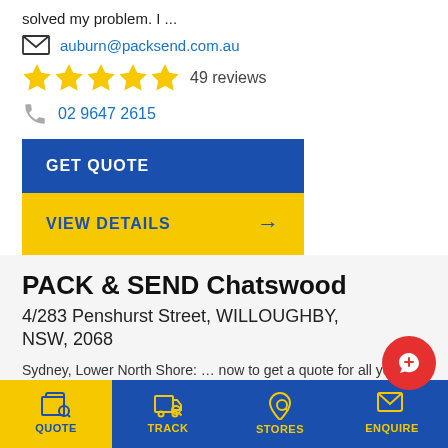solved my problem. I ...
auburn@packsend.com.au
49 reviews
02 9647 2615
GET QUOTE
VIEW DETAILS
PACK & SEND Chatswood
4/283 Penshurst Street, WILLOUGHBY, NSW, 2068
Sydney, Lower North Shore: … now to get a quote for all your packing and shipping needs. Great service Chris and Matt at Pack & Send… Pack a…
QUOTE | TRACK | STORES | ENQUIRE